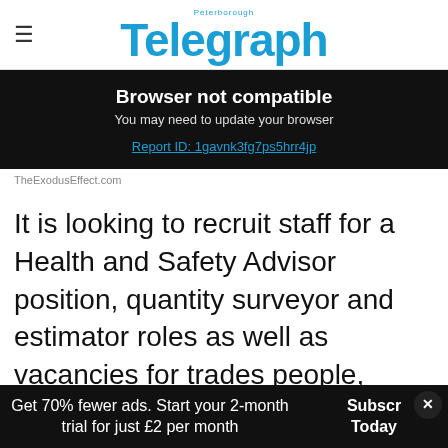Peterborough Telegraph
Browser not compatible
You may need to update your browser
Report ID: 1gavnk3fg7ps5hrr4jp
TheExodusEffect.com
It is looking to recruit staff for a Health and Safety Advisor position, quantity surveyor and estimator roles as well as vacancies for trades people, including bricklayers, carpenters, groundworkers and plant operators.
Get 70% fewer ads. Start your 2-month trial for just £2 per month
Subscribe Today